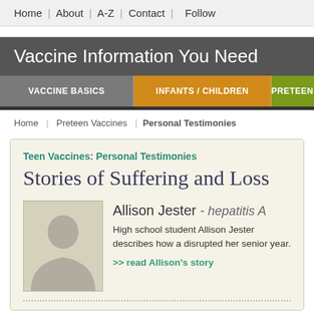Home | About | A-Z | Contact | Follow
Vaccine Information You Need
VACCINE BASICS | INFANTS / CHILDREN | PRETEENS
Home | Preteen Vaccines | Personal Testimonies
Teen Vaccines: Personal Testimonies
Stories of Suffering and Loss
Allison Jester - hepatitis A
High school student Allison Jester describes how a disrupted her senior year.
>> read Allison's story